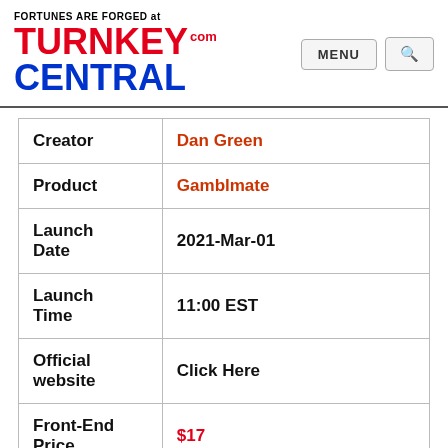FORTUNES ARE FORGED at TURNKEY CENTRAL .com
| Field | Value |
| --- | --- |
| Creator | Dan Green |
| Product | Gamblmate |
| Launch Date | 2021-Mar-01 |
| Launch Time | 11:00 EST |
| Official website | Click Here |
| Front-End Price | $17 |